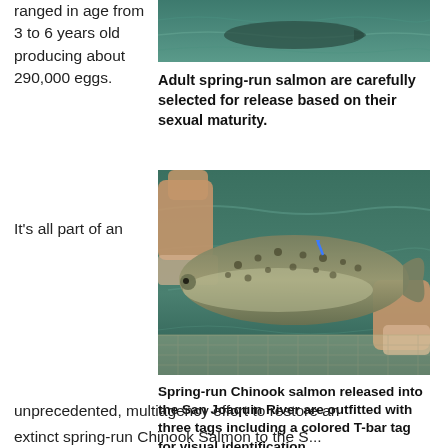ranged in age from 3 to 6 years old producing about 290,000 eggs.
[Figure (photo): Close-up photo of a salmon fish being held near water, top portion showing teal/green water background]
Adult spring-run salmon are carefully selected for release based on their sexual maturity.
[Figure (photo): Person holding a large spring-run Chinook salmon over water, showing the fish's spotted body and the handler's hands]
Spring-run Chinook salmon released into the San Joaquin River are outfitted with three tags including a colored T-bar tag for visual identification.
It's all part of an
unprecedented, multiagency effort to restore an
extinct spring-run Chinook Salmon to the S...